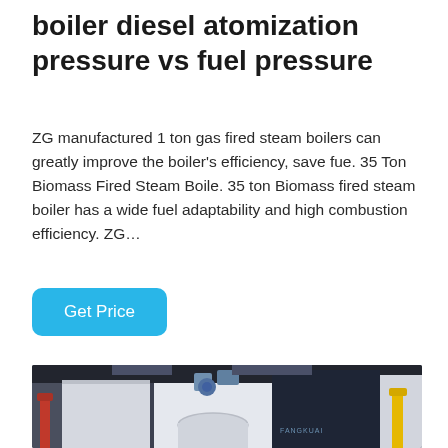boiler diesel atomization pressure vs fuel pressure
ZG manufactured 1 ton gas fired steam boilers can greatly improve the boiler's efficiency, save fue. 35 Ton Biomass Fired Steam Boile. 35 ton Biomass fired steam boiler has a wide fuel adaptability and high combustion efficiency. ZG…
[Figure (other): Get Price button — rounded rectangle, sky blue background, white text]
[Figure (photo): Industrial boiler units in a factory or plant room. Multiple large white and dark navy blue vertical boiler cabinets from FANGKUAI brand. Red pipe on left wall, yellow pipe on right. Dark ceiling and grey floor.]